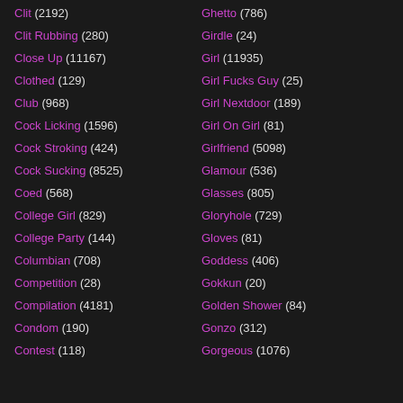Clit (2192)
Clit Rubbing (280)
Close Up (11167)
Clothed (129)
Club (968)
Cock Licking (1596)
Cock Stroking (424)
Cock Sucking (8525)
Coed (568)
College Girl (829)
College Party (144)
Columbian (708)
Competition (28)
Compilation (4181)
Condom (190)
Contest (118)
Ghetto (786)
Girdle (24)
Girl (11935)
Girl Fucks Guy (25)
Girl Nextdoor (189)
Girl On Girl (81)
Girlfriend (5098)
Glamour (536)
Glasses (805)
Gloryhole (729)
Gloves (81)
Goddess (406)
Gokkun (20)
Golden Shower (84)
Gonzo (312)
Gorgeous (1076)